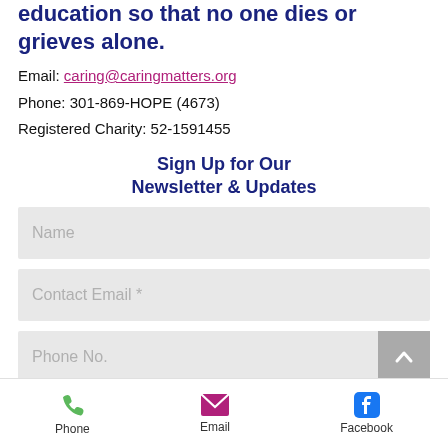education so that no one dies or grieves alone.
Email: caring@caringmatters.org
Phone: 301-869-HOPE (4673)
Registered Charity: 52-1591455
Sign Up for Our Newsletter & Updates
Name
Contact Email *
Phone No.
Phone  Email  Facebook